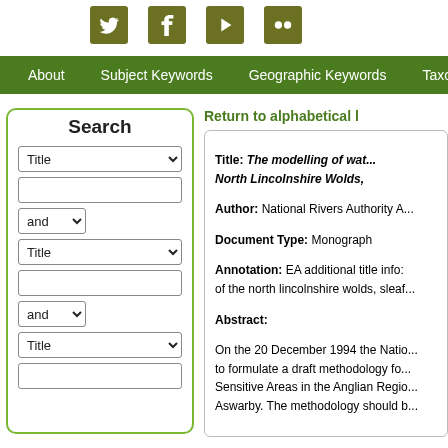Social media icons: Twitter, Facebook, Video, Flickr
About | Subject Keywords | Geographic Keywords | Taxonomic
Search
Return to alphabetical l...
Title: The modelling of wat... North Lincolnshire Wolds,
Author: National Rivers Authority A...
Document Type: Monograph
Annotation: EA additional title info: of the north lincolnshire wolds, sleaf...
Abstract:
On the 20 December 1994 the Natio... to formulate a draft methodology fo... Sensitive Areas in the Anglian Regio... Aswarby. The methodology should b...